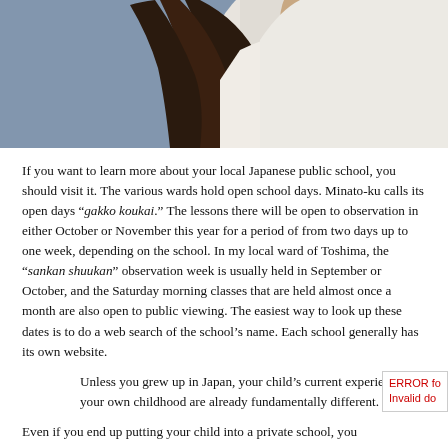[Figure (photo): Close-up photo of a young woman with long brown hair wearing a white top, partial view of shoulders and upper body against a blurred background.]
If you want to learn more about your local Japanese public school, you should visit it. The various wards hold open school days. Minato-ku calls its open days “gakko koukai.” The lessons there will be open to observation in either October or November this year for a period of from two days up to one week, depending on the school. In my local ward of Toshima, the “sankan shuukan” observation week is usually held in September or October, and the Saturday morning classes that are held almost once a month are also open to public viewing. The easiest way to look up these dates is to do a web search of the school’s name. Each school generally has its own website.
Unless you grew up in Japan, your child’s current experience and your own childhood are already fundamentally different.
Even if you end up putting your child into a private school, you